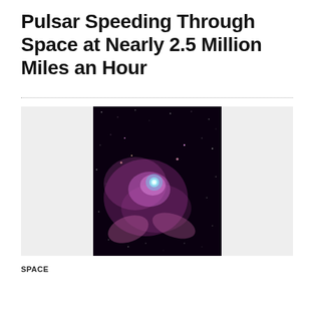Pulsar Speeding Through Space at Nearly 2.5 Million Miles an Hour
[Figure (photo): Astronomical image of a pulsar with purple nebula and bright cyan center against a dark star field background]
SPACE